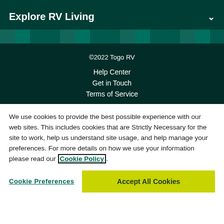Explore RV Living
[Figure (photo): Decorative image strip showing RV/outdoor scenery in teal tones]
©2022 Togo RV
Help Center
Get in Touch
Terms of Service
We use cookies to provide the best possible experience with our web sites. This includes cookies that are Strictly Necessary for the site to work, help us understand site usage, and help manage your preferences. For more details on how we use your information please read our Cookie Policy.
Cookie Preferences | Accept All Cookies